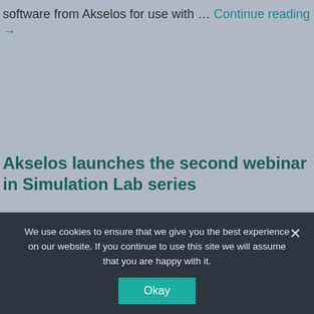software from Akselos for use with … Continue reading →
Akselos launches the second webinar in Simulation Lab series
Akselos will next week host the second in a series of technical webinars for structural engineers and finite element users. … Continue reading →
We use cookies to ensure that we give you the best experience on our website. If you continue to use this site we will assume that you are happy with it.
Okay